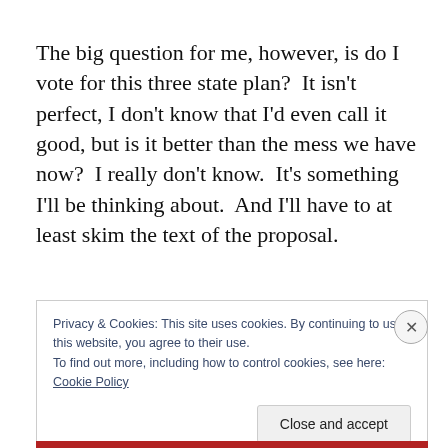The big question for me, however, is do I vote for this three state plan?  It isn't perfect, I don't know that I'd even call it good, but is it better than the mess we have now?  I really don't know.  It's something I'll be thinking about.  And I'll have to at least skim the text of the proposal.
Privacy & Cookies: This site uses cookies. By continuing to use this website, you agree to their use.
To find out more, including how to control cookies, see here: Cookie Policy